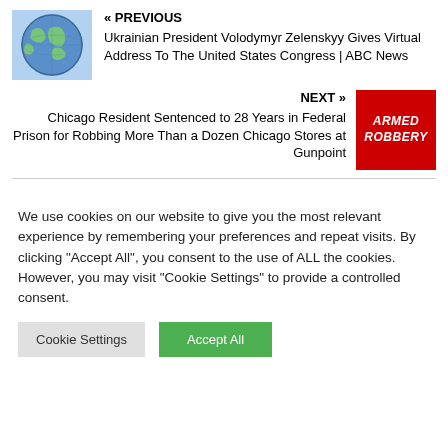« PREVIOUS
Ukrainian President Volodymyr Zelenskyy Gives Virtual Address To The United States Congress | ABC News
[Figure (illustration): Globe/world map thumbnail image]
NEXT »
Chicago Resident Sentenced to 28 Years in Federal Prison for Robbing More Than a Dozen Chicago Stores at Gunpoint
[Figure (illustration): Red background with white bold italic text reading ARMED ROBBERY]
We use cookies on our website to give you the most relevant experience by remembering your preferences and repeat visits. By clicking "Accept All", you consent to the use of ALL the cookies. However, you may visit "Cookie Settings" to provide a controlled consent.